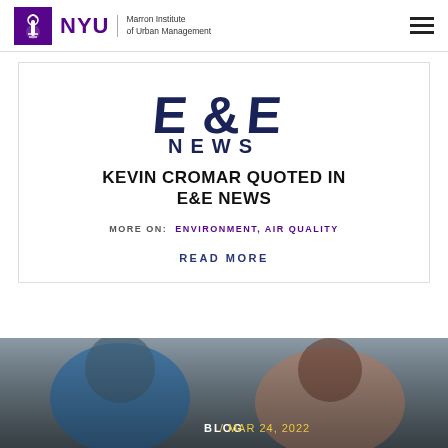NYU Marron Institute of Urban Management
[Figure (logo): E&E News logo with stylized 'E&E' letters in dark navy above the word NEWS in large dark blue text]
KEVIN CROMAR QUOTED IN E&E NEWS
MORE ON: ENVIRONMENT, AIR QUALITY
READ MORE
[Figure (photo): Photograph of people from behind, with a blog date overlay reading BLOG / MAR 24, 2022]